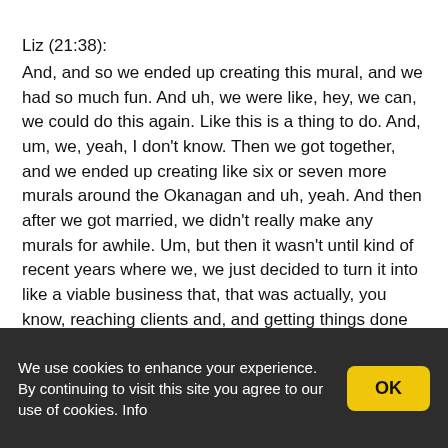Liz (21:38):
And, and so we ended up creating this mural, and we had so much fun. And uh, we were like, hey, we can, we could do this again. Like this is a thing to do. And, um, we, yeah, I don't know. Then we got together, and we ended up creating like six or seven more murals around the Okanagan and uh, yeah. And then after we got married, we didn't really make any murals for awhile. Um, but then it wasn't until kind of recent years where we, we just decided to turn it into like a viable business that, that was actually, you know, reaching clients and, and getting things done the right way and, and all this good stuff. So it, yeah, it's, it's been a lot of learning. Um, but we've, we've turned it into a
We use cookies to enhance your experience. By continuing to visit this site you agree to our use of cookies. Info
OK